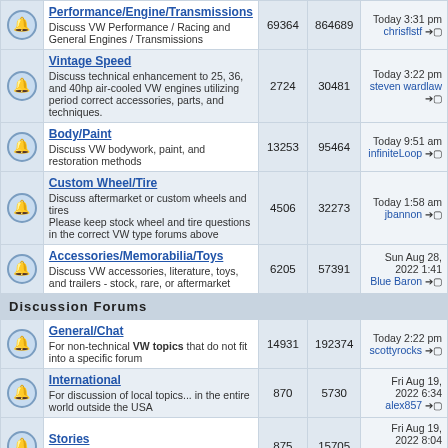|  | Forum | Topics | Posts | Last Post |
| --- | --- | --- | --- | --- |
|  | Performance/Engine/Transmissions
Discuss VW Performance / Racing and General Engines / Transmissions | 69364 | 864689 | Today 3:31 pm
chrisflstf |
|  | Vintage Speed
Discuss technical enhancement to 25, 36, and 40hp air-cooled VW engines utilizing period correct accessories, parts, and techniques. | 2724 | 30481 | Today 3:22 pm
steven wardlaw |
|  | Body/Paint
Discuss VW bodywork, paint, and restoration methods | 13253 | 95464 | Today 9:51 am
infiniteLoop |
|  | Custom Wheel/Tire
Discuss aftermarket or custom wheels and tires
Please keep stock wheel and tire questions in the correct VW type forums above | 4506 | 32273 | Today 1:58 am
jbannon |
|  | Accessories/Memorabilia/Toys
Discuss VW accessories, literature, toys, and trailers - stock, rare, or aftermarket | 6205 | 57391 | Sun Aug 28, 2022 1:41
Blue Baron |
| Discussion Forums |  |  |  |  |
|  | General/Chat
For non-technical VW topics that do not fit into a specific forum | 14931 | 192374 | Today 2:22 pm
scottyrocks |
|  | International
For discussion of local topics... in the entire world outside the USA | 870 | 5730 | Fri Aug 19, 2022 6:34
alex857 |
|  | Stories
For all your VW stories - real or fictional | 875 | 15705 | Fri Aug 19, 2022 8:04
Chinaclipper |